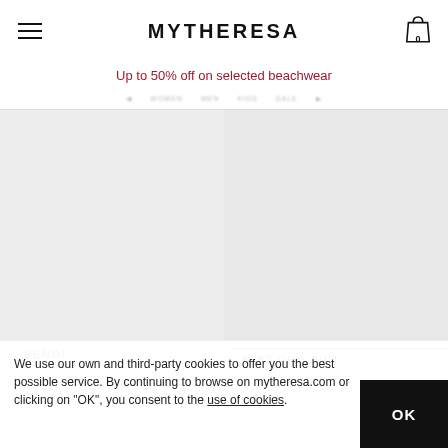MYTHERESA
Up to 50% off on selected beachwear
[Figure (photo): Product image area showing two fashion items (left: Fendi product, right: Part of a suit item) on light grey backgrounds]
FENDI
PART OF A SUIT
We use our own and third-party cookies to offer you the best possible service. By continuing to browse on mytheresa.com or clicking on "OK", you consent to the use of cookies.